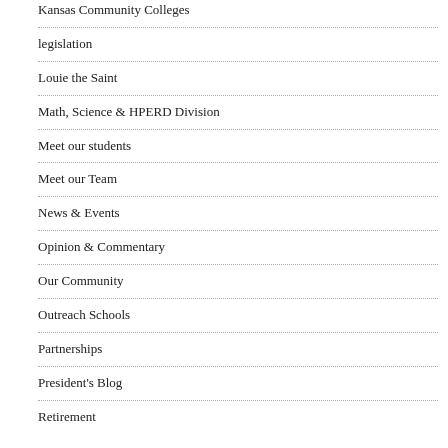Kansas Community Colleges
legislation
Louie the Saint
Math, Science & HPERD Division
Meet our students
Meet our Team
News & Events
Opinion & Commentary
Our Community
Outreach Schools
Partnerships
President's Blog
Retirement